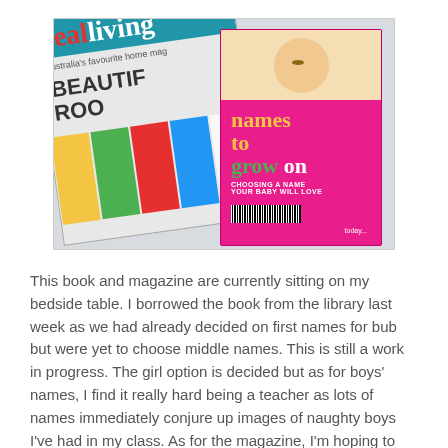[Figure (photo): Photo of two publications on a white textured surface: a 'Real Living' magazine showing 'Beautiful Rooms' cover, and a pink book titled 'names to grow on - Choosing a Name Your Baby Will Love']
This book and magazine are currently sitting on my bedside table. I borrowed the book from the library last week as we had already decided on first names for bub but were yet to choose middle names. This is still a work in progress. The girl option is decided but as for boys' names, I find it really hard being a teacher as lots of names immediately conjure up images of naughty boys I've had in my class. As for the magazine, I'm hoping to spend some time relaxing this week flicking through it's pages.